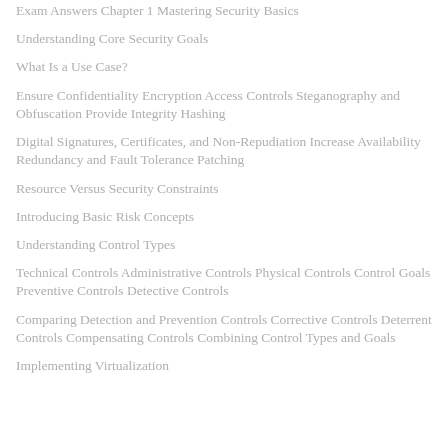Exam Answers Chapter 1 Mastering Security Basics
Understanding Core Security Goals
What Is a Use Case?
Ensure Confidentiality Encryption Access Controls Steganography and Obfuscation Provide Integrity Hashing
Digital Signatures, Certificates, and Non-Repudiation Increase Availability Redundancy and Fault Tolerance Patching
Resource Versus Security Constraints
Introducing Basic Risk Concepts
Understanding Control Types
Technical Controls Administrative Controls Physical Controls Control Goals Preventive Controls Detective Controls
Comparing Detection and Prevention Controls Corrective Controls Deterrent Controls Compensating Controls Combining Control Types and Goals
Implementing Virtualization